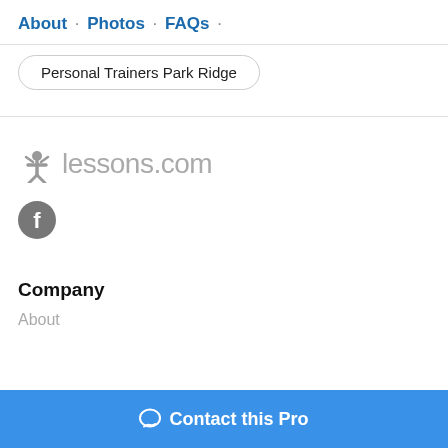About · Photos · FAQs ·
Personal Trainers Park Ridge
[Figure (logo): lessons.com logo with star icon]
[Figure (logo): Facebook icon - grey circle with white F]
Company
About
Contact this Pro